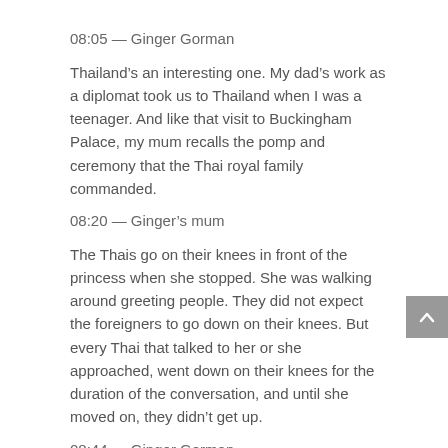08:05 — Ginger Gorman
Thailand's an interesting one. My dad's work as a diplomat took us to Thailand when I was a teenager. And like that visit to Buckingham Palace, my mum recalls the pomp and ceremony that the Thai royal family commanded.
08:20 — Ginger's mum
The Thais go on their knees in front of the princess when she stopped. She was walking around greeting people. They did not expect the foreigners to go down on their knees. But every Thai that talked to her or she approached, went down on their knees for the duration of the conversation, and until she moved on, they didn't get up.
08:44 — Ginger Gorman